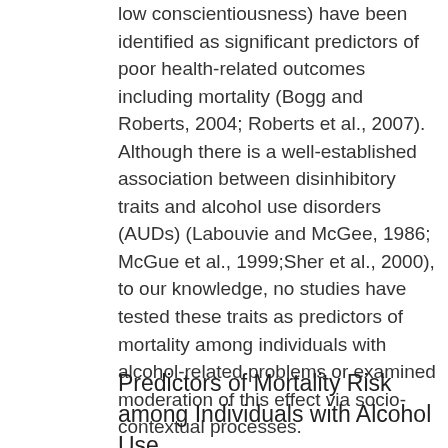low conscientiousness) have been identified as significant predictors of poor health-related outcomes including mortality (Bogg and Roberts, 2004; Roberts et al., 2007). Although there is a well-established association between disinhibitory traits and alcohol use disorders (AUDs) (Labouvie and McGee, 1986; McGue et al., 1999;Sher et al., 2000), to our knowledge, no studies have tested these traits as predictors of mortality among individuals with alcohol-related problems or examined moderation of this effect via socio-contextual processes.
Predictors of Mortality Risk among Individuals with Alcohol Use